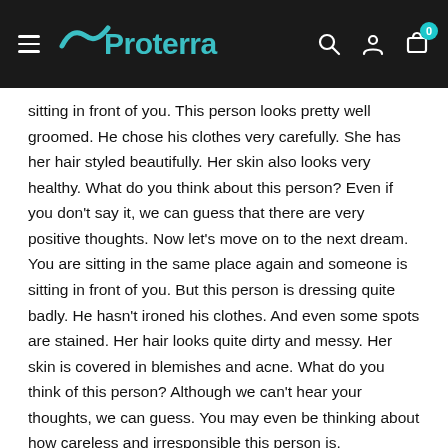Proterra — navigation header with logo, search, account, and cart icons
sitting in front of you. This person looks pretty well groomed. He chose his clothes very carefully. She has her hair styled beautifully. Her skin also looks very healthy. What do you think about this person? Even if you don't say it, we can guess that there are very positive thoughts. Now let's move on to the next dream. You are sitting in the same place again and someone is sitting in front of you. But this person is dressing quite badly. He hasn't ironed his clothes. And even some spots are stained. Her hair looks quite dirty and messy. Her skin is covered in blemishes and acne. What do you think of this person? Although we can't hear your thoughts, we can guess. You may even be thinking about how careless and irresponsible this person is.
Because a person who cannot take care of himself, how can you fulfill other responsibilities in daily life? Is not it? For all these reasons, people care about their appearance. One of the main